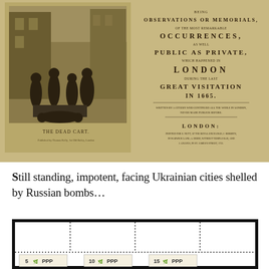[Figure (illustration): Scanned page spread of a historical book titled with observations or memorials of the most remarkable occurrences, public as private, which happened in London during the last Great Visitation in 1665. Left page shows an engraving titled 'THE DEAD CART' depicting people with a cart in a street scene. Right page shows the title page text printed for E. Nutt at the Royal Exchange, London, 1722.]
Still standing, impotent, facing Ukrainian cities shelled by Russian bombs…
[Figure (illustration): Bottom portion of an image showing what appears to be stamps or currency notes with dotted border lines, partially cut off. Shows numbers 5, 10, 15 with RRR text and small decorative emblems.]